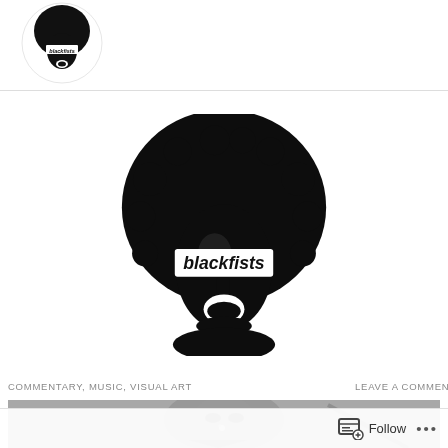[Figure (logo): Small circular blackfists logo in page header — black silhouette of person with afro and 'blackfists' text band across eyes]
[Figure (logo): Large central blackfists logo — bold black illustration of person with large afro, mouth open, white band across eyes reading 'blackfists' in italic text]
COMMENTARY, MUSIC, VISUAL ART
LEAVE A COMMENT
[Figure (photo): Grayscale photo of a person's face, partially visible, with a small ornament near the nose/chin area]
Follow